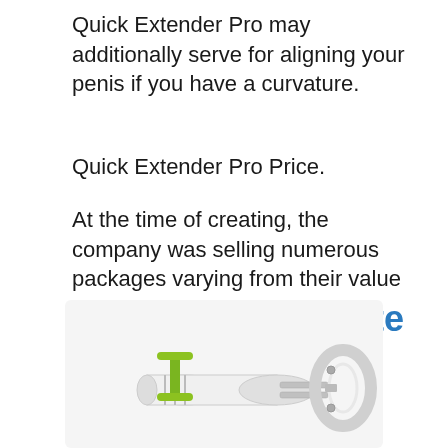Quick Extender Pro may additionally serve for aligning your penis if you have a curvature.
Quick Extender Pro Price.
At the time of creating, the company was selling numerous packages varying from their value pack to deluxe.
# 2 Phallosan Forte
[Figure (photo): Photo of a Phallosan Forte medical penis extender device — white cylindrical tube with green metal bracket/clip and chrome extension rods with a ring attachment on the right end.]